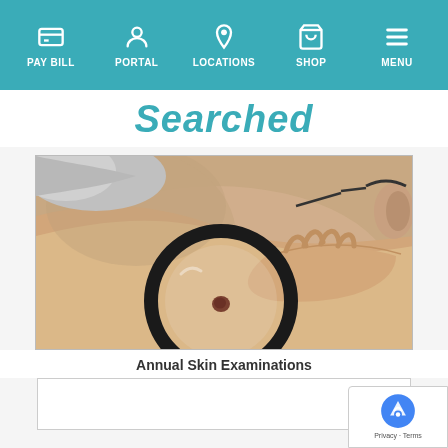PAY BILL | PORTAL | LOCATIONS | SHOP | MENU
Searched
[Figure (photo): A dermatologist or clinician examining a mole on a patient's back using a large magnifying loupe. The patient is a gray-haired individual photographed from behind. The clinician's hand is visible holding the magnifier over a small dark mole on the skin.]
Annual Skin Examinations